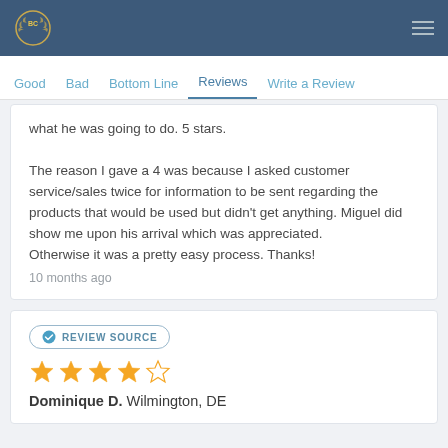BC [logo] | navigation hamburger menu
Good  Bad  Bottom Line  Reviews  Write a Review
what he was going to do. 5 stars.

The reason I gave a 4 was because I asked customer service/sales twice for information to be sent regarding the products that would be used but didn't get anything. Miguel did show me upon his arrival which was appreciated.
Otherwise it was a pretty easy process. Thanks!
10 months ago
REVIEW SOURCE
[Figure (other): 4 out of 5 stars rating (4 filled gold stars, 1 empty star)]
Dominique D.  Wilmington, DE